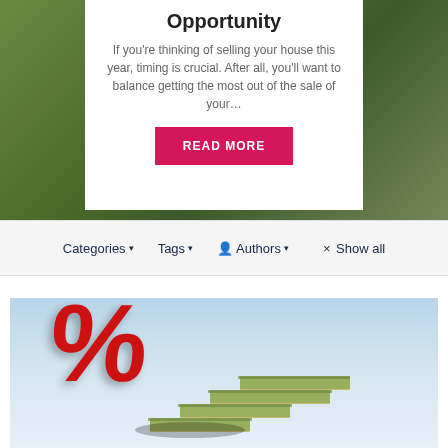[Figure (photo): Blurred green outdoor background behind a white content card]
Opportunity
If you’re thinking of selling your house this year, timing is crucial. After all, you’ll want to balance getting the most out of the sale of your…
READ MORE
Categories ▾   Tags ▾   👤 Authors ▾     × Show all
[Figure (photo): A large red 3D percent sign standing on stair-stepped US dollar bills, against a light blue sky background]